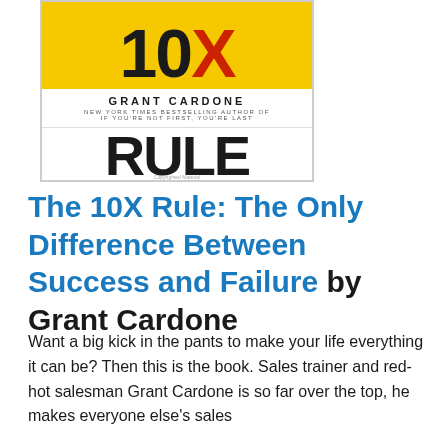[Figure (illustration): Book cover of 'The 10X Rule' by Grant Cardone. Yellow top section with '10X' in large bold font (X in red), white middle section with author name 'GRANT CARDONE' and subtitle text, white bottom section with 'RULE' in large bold black font.]
The 10X Rule: The Only Difference Between Success and Failure by Grant Cardone
Want a big kick in the pants to make your life everything it can be? Then this is the book. Sales trainer and red-hot salesman Grant Cardone is so far over the top, he makes everyone else's sales